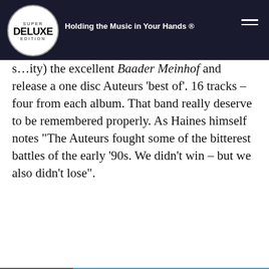Super Deluxe Edition — Holding the Music in Your Hands ®
s…ity) the excellent Baader Meinhof and release a one disc Auteurs 'best of'. 16 tracks – four from each album. That band really deserve to be remembered properly. As Haines himself notes "The Auteurs fought some of the bitterest battles of the early '90s. We didn't win – but we also didn't lose".
[Figure (infographic): Blue banner with X close button reading NEVER MISS A RELEASE.]
We use cookies on our website to give you the most relevant experience by remembering your preferences and repeat visits. By clicking "Accept", you consent to the use of ALL the cookies.
Cookie settings   ACCEPT